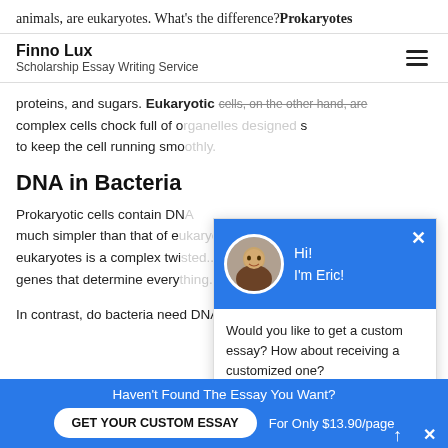animals, are eukaryotes. What's the difference? Prokaryotes
Finno Lux – Scholarship Essay Writing Service
proteins, and sugars. Eukaryotic cells, on the other hand, are complex cells chock full of organelles designed to keep the cell running smoothly.
DNA in Bacteria
Prokaryotic cells contain DNA much simpler than that of eukaryotes. DNA in eukaryotes is a complex twi... genes that determine every...
In contrast, do bacteria need DNA full of genes that wi...
[Figure (screenshot): Chat popup widget with blue header showing avatar and greeting 'Hi! I'm Eric!', white body asking about custom essay with 'Check it out' link, and blue chat icon button]
Haven't Found The Essay You Want? GET YOUR CUSTOM ESSAY For Only $13.90/page